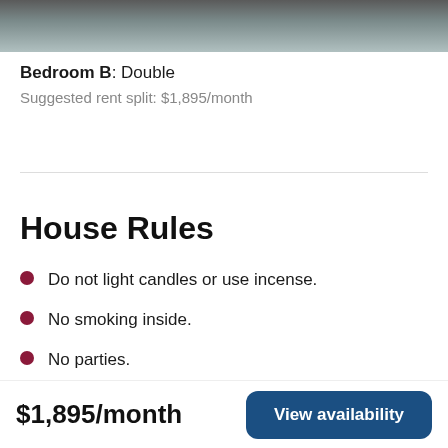[Figure (photo): Partial bedroom photo showing bedding/pillows at top of page]
Bedroom B: Double
Suggested rent split: $1,895/month
House Rules
Do not light candles or use incense.
No smoking inside.
No parties.
Please respect quiet hours from 10:00 p.m. to
$1,895/month
View availability